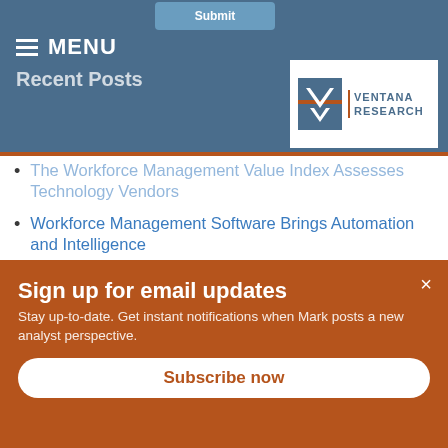MENU
Recent Posts
[Figure (logo): Ventana Research logo with chevron/arrow icon and text VENTANA RESEARCH]
The Workforce Management Value Index Assesses Technology Vendors
Workforce Management Software Brings Automation and Intelligence
Human Capital Management Market Agenda: Readiness and Resilience
Digital Business Market Agenda for 2022:
Sign up for email updates
Stay up-to-date. Get instant notifications when Mark posts a new analyst perspective.
Subscribe now